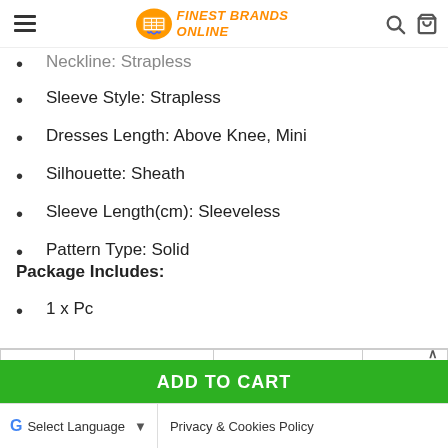Finest Brands Online
Neckline: Strapless
Sleeve Style: Strapless
Dresses Length: Above Knee, Mini
Silhouette: Sheath
Sleeve Length(cm): Sleeveless
Pattern Type: Solid
Package Includes:
1 x Pc
| Size | Bust (cm / inch) | Waist (cm / inch) | Lengt... / in... |
| --- | --- | --- | --- |
ADD TO CART | Select Language | Privacy & Cookies Policy